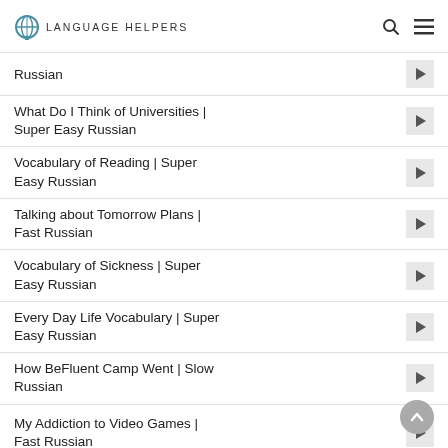Language Helpers
Russian
What Do I Think of Universities | Super Easy Russian
Vocabulary of Reading | Super Easy Russian
Talking about Tomorrow Plans | Fast Russian
Vocabulary of Sickness | Super Easy Russian
Every Day Life Vocabulary | Super Easy Russian
How BeFluent Camp Went | Slow Russian
My Addiction to Video Games | Fast Russian